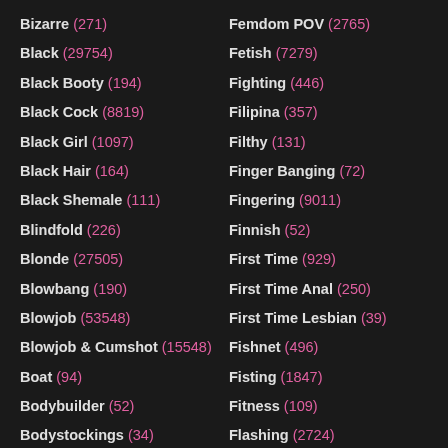Bizarre (271)
Black (29754)
Black Booty (194)
Black Cock (8819)
Black Girl (1097)
Black Hair (164)
Black Shemale (111)
Blindfold (226)
Blonde (27505)
Blowbang (190)
Blowjob (53548)
Blowjob & Cumshot (15548)
Boat (94)
Bodybuilder (52)
Bodystockings (34)
Femdom POV (2765)
Fetish (7279)
Fighting (446)
Filipina (357)
Filthy (131)
Finger Banging (72)
Fingering (9011)
Finnish (52)
First Time (929)
First Time Anal (250)
First Time Lesbian (39)
Fishnet (496)
Fisting (1847)
Fitness (109)
Flashing (2724)